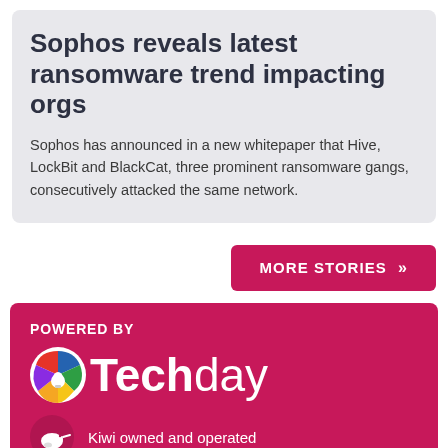Sophos reveals latest ransomware trend impacting orgs
Sophos has announced in a new whitepaper that Hive, LockBit and BlackCat, three prominent ransomware gangs, consecutively attacked the same network.
MORE STORIES »
POWERED BY
[Figure (logo): Techday logo — colourful globe icon with the word Techday]
Kiwi owned and operated